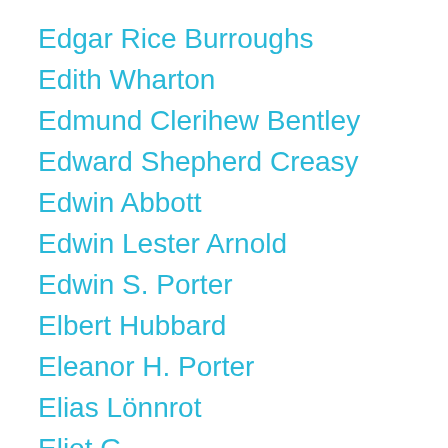Edgar Rice Burroughs
Edith Wharton
Edmund Clerihew Bentley
Edward Shepherd Creasy
Edwin Abbott
Edwin Lester Arnold
Edwin S. Porter
Elbert Hubbard
Eleanor H. Porter
Elias Lönnrot
Eliot G.
Elizabeth Gaskell
Émile Zola